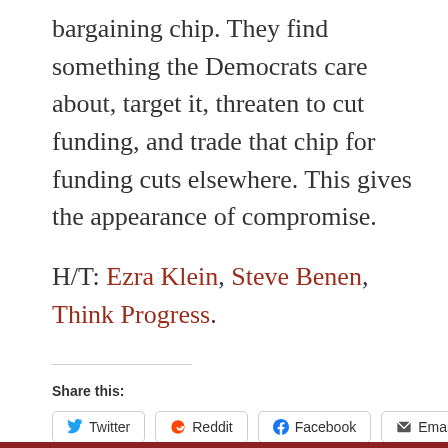bargaining chip. They find something the Democrats care about, target it, threaten to cut funding, and trade that chip for funding cuts elsewhere. This gives the appearance of compromise.
H/T: Ezra Klein, Steve Benen, Think Progress.
Share this:
Twitter
Reddit
Facebook
Email